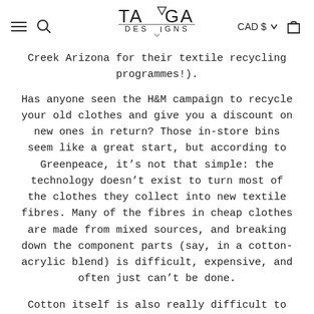TAMGA DESIGNS — CAD $
Creek Arizona for their textile recycling programmes!).
Has anyone seen the H&M campaign to recycle your old clothes and give you a discount on new ones in return? Those in-store bins seem like a great start, but according to Greenpeace, it’s not that simple: the technology doesn’t exist to turn most of the clothes they collect into new textile fibres. Many of the fibres in cheap clothes are made from mixed sources, and breaking down the component parts (say, in a cotton-acrylic blend) is difficult, expensive, and often just can’t be done.
Cotton itself is also really difficult to recycle: old clothes have to be chopped up and turned into raw material, which shortens the length of fibres and makes the new threads weaker and scratchier. These are poorer-quality fabrics and fashion manufacturers often don’t want to use them. The